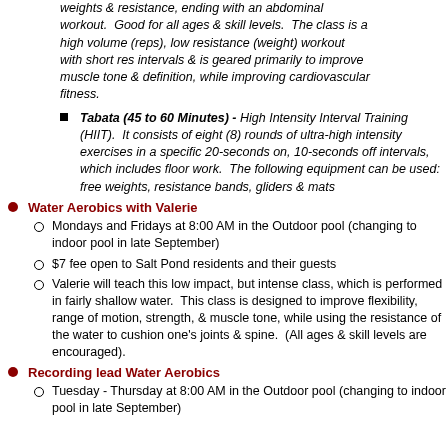weights & resistance, ending with an abdominal workout. Good for all ages & skill levels. The class is a high volume (reps), low resistance (weight) workout with short res intervals & is geared primarily to improve muscle tone & definition, while improving cardiovascular fitness.
Tabata (45 to 60 Minutes) - High Intensity Interval Training (HIIT). It consists of eight (8) rounds of ultra-high intensity exercises in a specific 20-seconds on, 10-seconds off intervals, which includes floor work. The following equipment can be used: free weights, resistance bands, gliders & mats
Water Aerobics with Valerie
Mondays and Fridays at 8:00 AM in the Outdoor pool (changing to indoor pool in late September)
$7 fee open to Salt Pond residents and their guests
Valerie will teach this low impact, but intense class, which is performed in fairly shallow water. This class is designed to improve flexibility, range of motion, strength, & muscle tone, while using the resistance of the water to cushion one's joints & spine. (All ages & skill levels are encouraged).
Recording lead Water Aerobics
Tuesday - Thursday at 8:00 AM in the Outdoor pool (changing to indoor pool in late September)